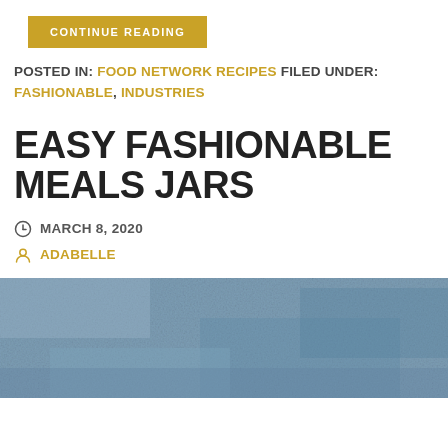CONTINUE READING
POSTED IN: FOOD NETWORK RECIPES FILED UNDER: FASHIONABLE, INDUSTRIES
EASY FASHIONABLE MEALS JARS
MARCH 8, 2020
ADABELLE
[Figure (photo): Blueish-grey textured surface, possibly food or fabric, partially visible at bottom of page]